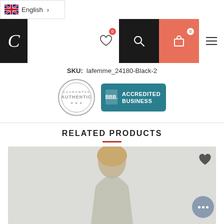English — language selector
C logo, heart (0), search, cart (0), menu
SKU: lafemme_24180-Black-2
[Figure (logo): Guarantee Authentic circular stamp and BBB Accredited Business badge]
RELATED PRODUCTS
[Figure (photo): Blonde woman in sequined dress, product card thumbnail]